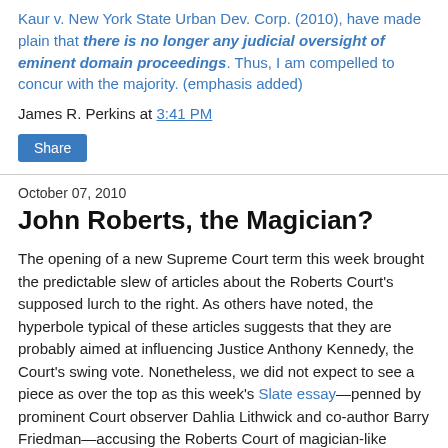Kaur v. New York State Urban Dev. Corp. (2010), have made plain that there is no longer any judicial oversight of eminent domain proceedings. Thus, I am compelled to concur with the majority. (emphasis added)
James R. Perkins at 3:41 PM
Share
October 07, 2010
John Roberts, the Magician?
The opening of a new Supreme Court term this week brought the predictable slew of articles about the Roberts Court's supposed lurch to the right. As others have noted, the hyperbole typical of these articles suggests that they are probably aimed at influencing Justice Anthony Kennedy, the Court's swing vote. Nonetheless, we did not expect to see a piece as over the top as this week's Slate essay—penned by prominent Court observer Dahlia Lithwick and co-author Barry Friedman—accusing the Roberts Court of magician-like sleight of hand. The essay ends the issue...